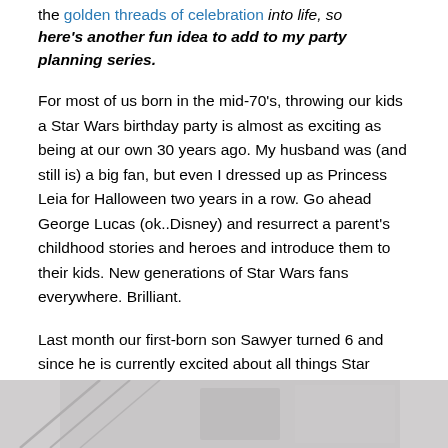the golden threads of celebration into life, so here's another fun idea to add to my party planning series.
For most of us born in the mid-70's, throwing our kids a Star Wars birthday party is almost as exciting as being at our own 30 years ago. My husband was (and still is) a big fan, but even I dressed up as Princess Leia for Halloween two years in a row. Go ahead George Lucas (ok..Disney) and resurrect a parent's childhood stories and heroes and introduce them to their kids. New generations of Star Wars fans everywhere. Brilliant.
Last month our first-born son Sawyer turned 6 and since he is currently excited about all things Star Wars, we pulled together a really fun party for our little Jedi. Even our Pug got decked out in his Vader hoodie.
[Figure (photo): Bottom strip showing a partial photo, predominantly grey/white tones, cropped at the bottom of the page.]